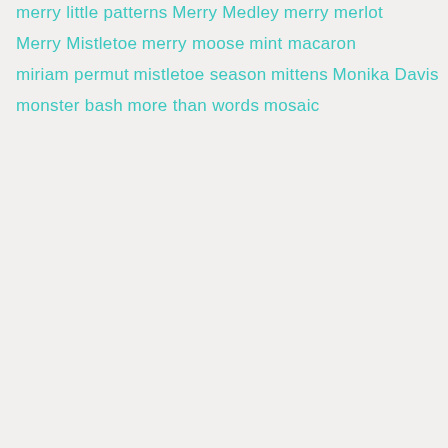merry little patterns
Merry Medley
merry merlot
Merry Mistletoe
merry moose
mint macaron
miriam permut
mistletoe season
mittens
Monika Davis
monster bash
more than words
mosaic